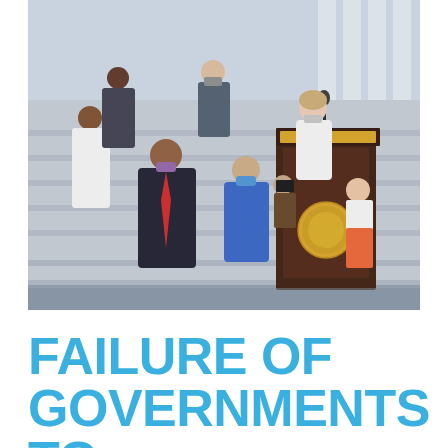[Figure (photo): Outdoor press conference on the steps of the US Capitol building. A woman in a white blazer speaks at a dark wooden podium bearing the House Speaker seal. Several people wearing face masks stand socially distanced behind her on the steps, including a man in a dark suit with a red tie and a woman in a blue outfit. The Capitol columns are visible in the background. The event appears to take place during the COVID-19 pandemic.]
FAILURE OF GOVERNMENTS TO